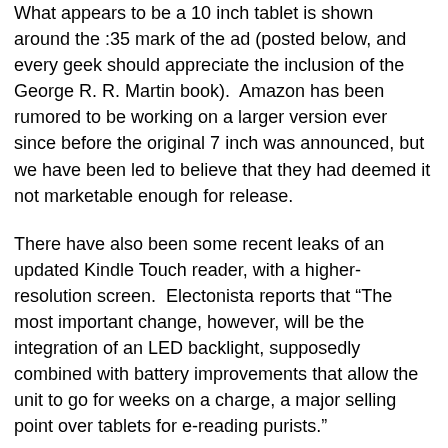What appears to be a 10 inch tablet is shown around the :35 mark of the ad (posted below, and every geek should appreciate the inclusion of the George R. R. Martin book).  Amazon has been rumored to be working on a larger version ever since before the original 7 inch was announced, but we have been led to believe that they had deemed it not marketable enough for release.
There have also been some recent leaks of an updated Kindle Touch reader, with a higher-resolution screen.  Electonista reports that “The most important change, however, will be the integration of an LED backlight, supposedly combined with battery improvements that allow the unit to go for weeks on a charge, a major selling point over tablets for e-reading purists.”
We will find out later today how close any of this speculation has come to actual reality.  The